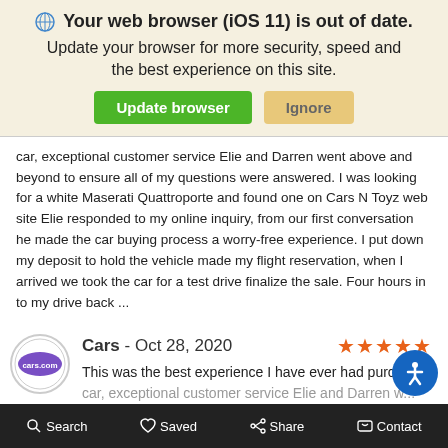🌐 Your web browser (iOS 11) is out of date. Update your browser for more security, speed and the best experience on this site.
car, exceptional customer service Elie and Darren went above and beyond to ensure all of my questions were answered. I was looking for a white Maserati Quattroporte and found one on Cars N Toyz web site Elie responded to my online inquiry, from our first conversation he made the car buying process a worry-free experience. I put down my deposit to hold the vehicle made my flight reservation, when I arrived we took the car for a test drive finalize the sale. Four hours in to my drive back ...
Cars - Oct 28, 2020
This was the best experience I have ever had purchasin car, exceptional customer service Elie and Darren w...
Search   Saved   Share   Contact